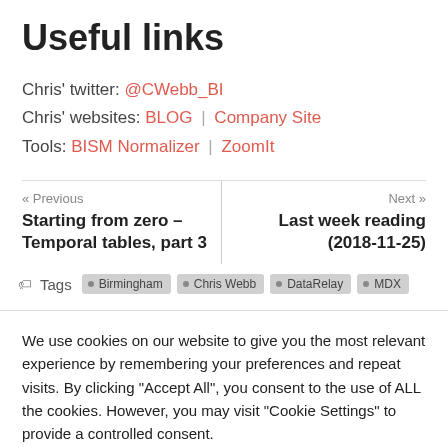Useful links
Chris' twitter: @CWebb_BI
Chris' websites: BLOG | Company Site
Tools: BISM Normalizer | ZoomIt
« Previous
Starting from zero – Temporal tables, part 3
Next »
Last week reading (2018-11-25)
Tags: Birmingham · Chris Webb · DataRelay · MDX
We use cookies on our website to give you the most relevant experience by remembering your preferences and repeat visits. By clicking "Accept All", you consent to the use of ALL the cookies. However, you may visit "Cookie Settings" to provide a controlled consent.